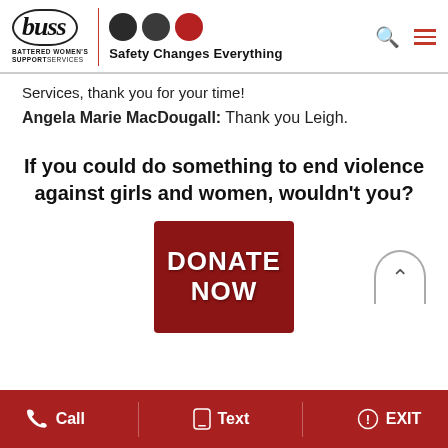[Figure (logo): BWSS logo with buss wordmark in oval, three circles (two dark, one red), tagline 'Safety Changes Everything', and navigation icons]
Services, thank you for your time!
Angela Marie MacDougall: Thank you Leigh.
If you could do something to end violence against girls and women, wouldn't you?
[Figure (screenshot): Dark red DONATE NOW button]
Call   Text   EXIT